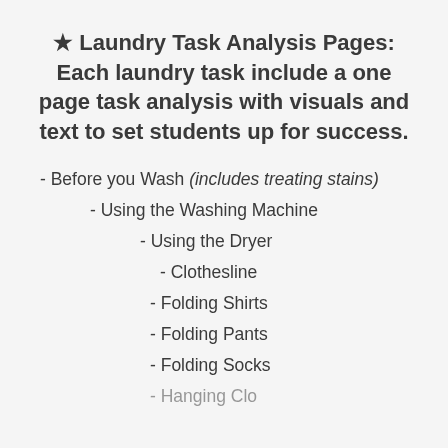★ Laundry Task Analysis Pages: Each laundry task include a one page task analysis with visuals and text to set students up for success.
- Before you Wash (includes treating stains)
- Using the Washing Machine
- Using the Dryer
- Clothesline
- Folding Shirts
- Folding Pants
- Folding Socks
- Hanging Clothes